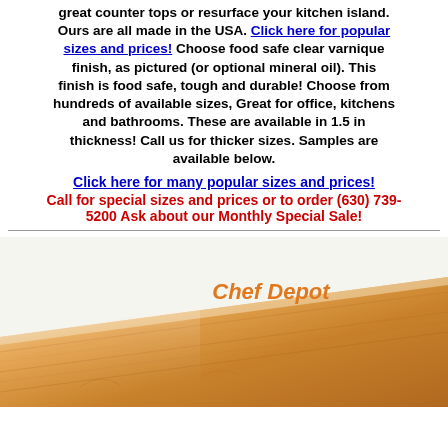great counter tops or resurface your kitchen island. Ours are all made in the USA. Click here for popular sizes and prices! Choose food safe clear varnique finish, as pictured (or optional mineral oil). This finish is food safe, tough and durable! Choose from hundreds of available sizes, Great for office, kitchens and bathrooms. These are available in 1.5 in thickness! Call us for thicker sizes. Samples are available below.
Click here for many popular sizes and prices!
Call for special sizes and prices or to order (630) 739-5200 Ask about our Monthly Special Sale!
[Figure (photo): Wooden butcher block countertop at an angle with Chef Depot watermark logo in orange italic text]